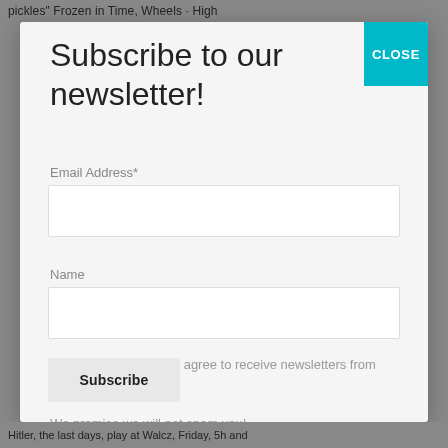pickles" Frozen in Time, Wheels · High
Subscribe to our newsletter!
Email Address*
Name
By clicking Submit you agree to receive newsletters from Danyuka.com.

We promise we will not spam you!
Hitler, the last days, play at Walcz, Friday, 5h and…